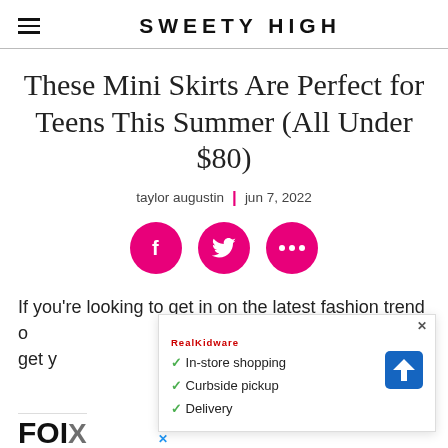SWEETY HIGH
These Mini Skirts Are Perfect for Teens This Summer (All Under $80)
taylor augustin  |  jun 7, 2022
[Figure (other): Three pink circular social media share buttons: Facebook (f), Twitter (bird), and more options (three dots)]
If you're looking to get in on the latest fashion trend... to get y...
[Figure (other): Advertisement overlay showing a store listing with checkmarks for In-store shopping, Curbside pickup, and Delivery, with a navigation/directions icon on the right.]